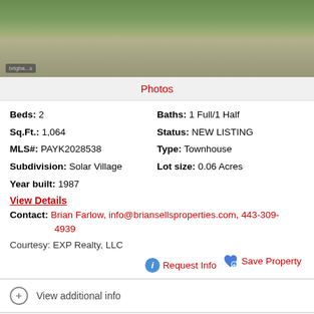[Figure (photo): Exterior photo of a residential property showing driveway and street, with a blue car partially visible on the right side]
Photos
Beds: 2    Baths: 1 Full/1 Half
Sq.Ft.: 1,064    Status: NEW LISTING
MLS#: PAYK2028538    Type: Townhouse
Subdivision: Solar Village    Lot size: 0.06 Acres
Year built: 1987
View Details
Contact: Brian Farlow, info@briansellsproperties.com, 443-309-4939
Courtesy: EXP Realty, LLC
Request Info    Save Property
View additional info
$289,900  1211 Brooke Drive Dover, PA 17315